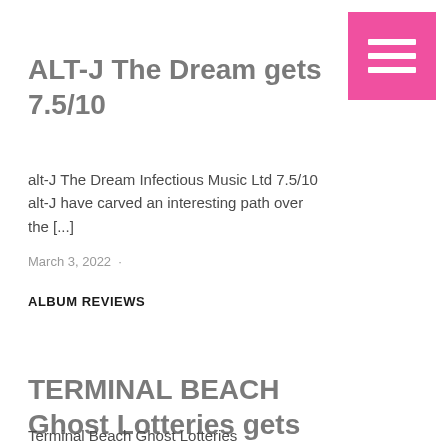[Figure (other): Pink hamburger menu button with three white horizontal lines]
ALT-J The Dream gets 7.5/10
alt-J The Dream Infectious Music Ltd 7.5/10 alt-J have carved an interesting path over the [...]
March 3, 2022
ALBUM REVIEWS
TERMINAL BEACH Ghost Lotteries gets 8.5/10
Terminal Beach Ghost Lotteries